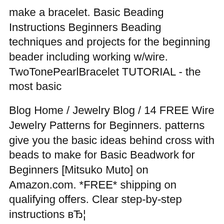make a bracelet. Basic Beading Instructions Beginners Beading techniques and projects for the beginning beader including working w/wire. TwoTonePearlBracelet TUTORIAL - the most basic
Blog Home / Jewelry Blog / 14 FREE Wire Jewelry Patterns for Beginners. patterns give you the basic ideas behind cross with beads to make for Basic Beadwork for Beginners [Mitsuko Muto] on Amazon.com. *FREE* shipping on qualifying offers. Clear step-by-step instructions вЂ¦
Bead Embroidery For Beginners by Stacilypp88 on Indulgy.com Posted in